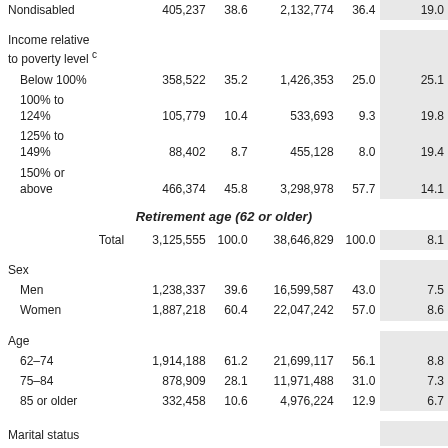|  | Number | % | Number | % | Median annual benefit ($00s) |
| --- | --- | --- | --- | --- | --- |
| Nondisabled | 405,237 | 38.6 | 2,132,774 | 36.4 | 19.0 |
| Income relative to poverty level c |  |  |  |  |  |
| Below 100% | 358,522 | 35.2 | 1,426,353 | 25.0 | 25.1 |
| 100% to 124% | 105,779 | 10.4 | 533,693 | 9.3 | 19.8 |
| 125% to 149% | 88,402 | 8.7 | 455,128 | 8.0 | 19.4 |
| 150% or above | 466,374 | 45.8 | 3,298,978 | 57.7 | 14.1 |
Retirement age (62 or older)
|  | Number | % | Number | % | Median annual benefit ($00s) |
| --- | --- | --- | --- | --- | --- |
| Total | 3,125,555 | 100.0 | 38,646,829 | 100.0 | 8.1 |
| Sex |  |  |  |  |  |
| Men | 1,238,337 | 39.6 | 16,599,587 | 43.0 | 7.5 |
| Women | 1,887,218 | 60.4 | 22,047,242 | 57.0 | 8.6 |
| Age |  |  |  |  |  |
| 62–74 | 1,914,188 | 61.2 | 21,699,117 | 56.1 | 8.8 |
| 75–84 | 878,909 | 28.1 | 11,971,488 | 31.0 | 7.3 |
| 85 or older | 332,458 | 10.6 | 4,976,224 | 12.9 | 6.7 |
| Marital status |  |  |  |  |  |